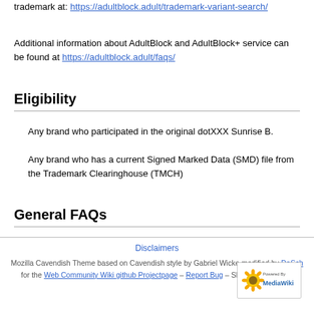trademark at: https://adultblock.adult/trademark-variant-search/
Additional information about AdultBlock and AdultBlock+ service can be found at https://adultblock.adult/faqs/
Eligibility
Any brand who participated in the original dotXXX Sunrise B.
Any brand who has a current Signed Marked Data (SMD) file from the Trademark Clearinghouse (TMCH)
General FAQs
Disclaimers
Mozilla Cavendish Theme based on Cavendish style by Gabriel Wicke modified by DaSch for the Web Community Wiki github Projectpage – Report Bug – Skin-Version: 1.6.4